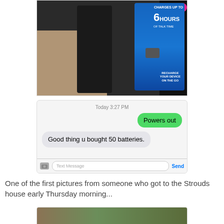[Figure (photo): A hand holding a portable USB charger product in clamshell packaging. The package has a blue label reading '6 HOURS OF TALK TIME' and 'RECHARGE YOUR DEVICE ON THE GO'. The product body is black.]
[Figure (screenshot): iPhone SMS text message screenshot. Timestamp reads 'Today 3:27 PM'. Sent message bubble (green): 'Powers out'. Received message bubble (gray): 'Good thing u bought 50 batteries.' Bottom shows iOS message input bar with camera icon, 'Text Message' field, and 'Send' button.]
One of the first pictures from someone who got to the Strouds house early Thursday morning...
[Figure (photo): Partial bottom photo strip, cropped at page edge.]